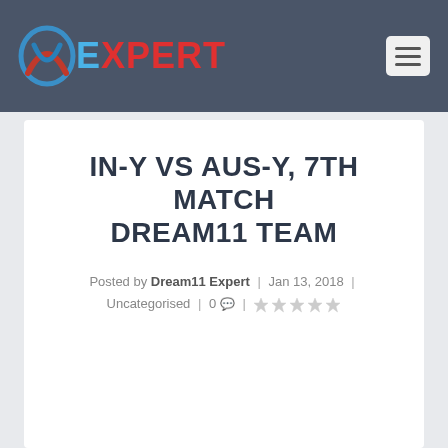EXPERT
IN-Y VS AUS-Y, 7TH MATCH DREAM11 TEAM
Posted by Dream11 Expert | Jan 13, 2018 | Uncategorised | 0 💬 | ★★★★★